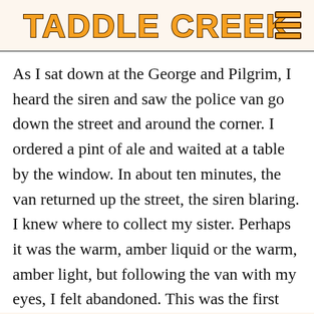TADDLE CREEK
As I sat down at the George and Pilgrim, I heard the siren and saw the police van go down the street and around the corner. I ordered a pint of ale and waited at a table by the window. In about ten minutes, the van returned up the street, the siren blaring. I knew where to collect my sister. Perhaps it was the warm, amber liquid or the warm, amber light, but following the van with my eyes, I felt abandoned. This was the first time Cassie had excluded me from her plans. Staring at my half-finished pint, my mind wandered to our first time. It seemed like yesterday, but it was